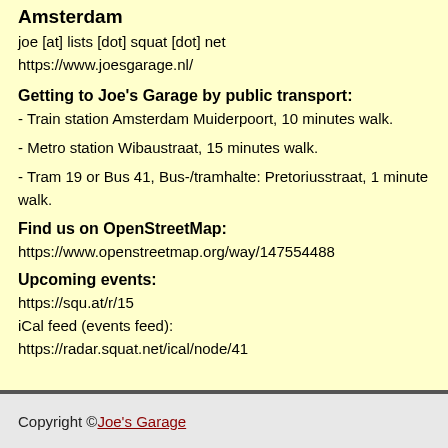Amsterdam
joe [at] lists [dot] squat [dot] net
https://www.joesgarage.nl/
Getting to Joe's Garage by public transport:
- Train station Amsterdam Muiderpoort, 10 minutes walk.
- Metro station Wibaustraat, 15 minutes walk.
- Tram 19 or Bus 41, Bus-/tramhalte: Pretoriusstraat, 1 minute walk.
Find us on OpenStreetMap:
https://www.openstreetmap.org/way/147554488
Upcoming events:
https://squ.at/r/15
iCal feed (events feed):
https://radar.squat.net/ical/node/41
Copyright © Joe's Garage